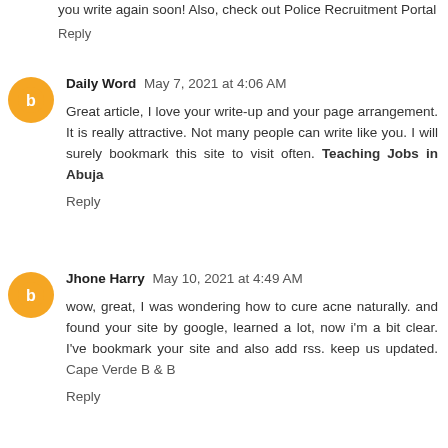you write again soon! Also, check out Police Recruitment Portal
Reply
Daily Word  May 7, 2021 at 4:06 AM
Great article, I love your write-up and your page arrangement. It is really attractive. Not many people can write like you. I will surely bookmark this site to visit often. Teaching Jobs in Abuja
Reply
Jhone Harry  May 10, 2021 at 4:49 AM
wow, great, I was wondering how to cure acne naturally. and found your site by google, learned a lot, now i'm a bit clear. I've bookmark your site and also add rss. keep us updated. Cape Verde B & B
Reply